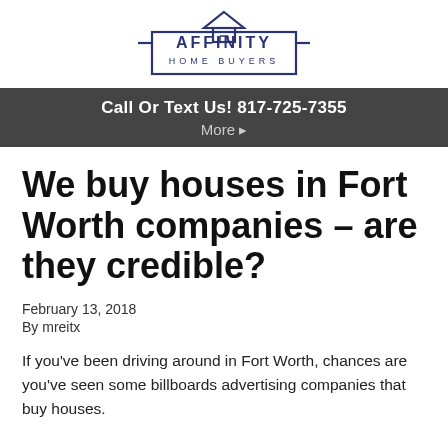[Figure (logo): Affinity Home Buyers logo with house/triangle icon above text in a rectangular border]
Call Or Text Us! 817-725-7355
More ▸
We buy houses in Fort Worth companies – are they credible?
February 13, 2018
By mreitx
If you've been driving around in Fort Worth, chances are you've seen some billboards advertising companies that buy houses.